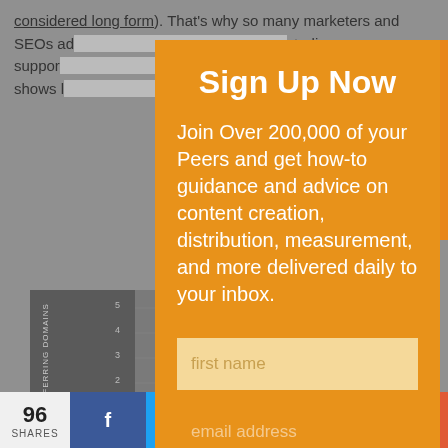considered long form). That’s why so many marketers and SEOs ad... studies support... hat shows b...
[Figure (bar-chart): Partially visible bar chart with y-axis labeled 'REFERRING DOMAINS' and a teal bar visible on the right side. Y-axis ticks visible: 0, 1, 2, 3, 4, 5. X-axis shows a value around 000.]
Sign Up Now
Join Over 200,000 of your Peers and get how-to guidance and advice on content creation, distribution, measurement, and more delivered daily to your inbox.
first name
email address
96 SHARES